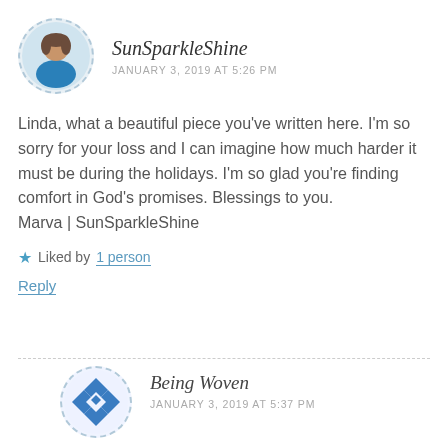[Figure (photo): Circular avatar photo of a woman in a blue top, with dashed border]
SunSparkleShine
JANUARY 3, 2019 AT 5:26 PM
Linda, what a beautiful piece you've written here. I'm so sorry for your loss and I can imagine how much harder it must be during the holidays. I'm so glad you're finding comfort in God's promises. Blessings to you.
Marva | SunSparkleShine
★ Liked by 1 person
Reply
[Figure (logo): Being Woven logo: blue geometric quilt-like cross pattern in circle with dashed border]
Being Woven
JANUARY 3, 2019 AT 5:37 PM